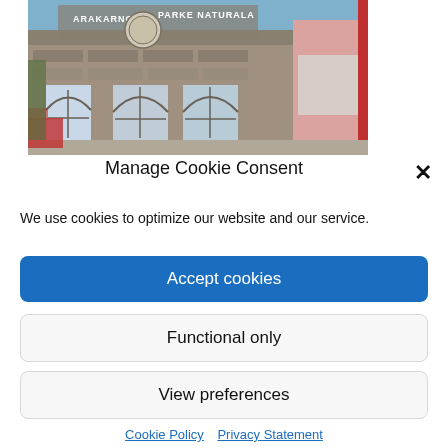[Figure (photo): Exterior photo of a stone building with arched windows labeled 'ARAKARNO PARKE NATURALA']
Manage Cookie Consent
We use cookies to optimize our website and our service.
Accept cookies
Functional only
View preferences
Cookie Policy   Privacy Statement